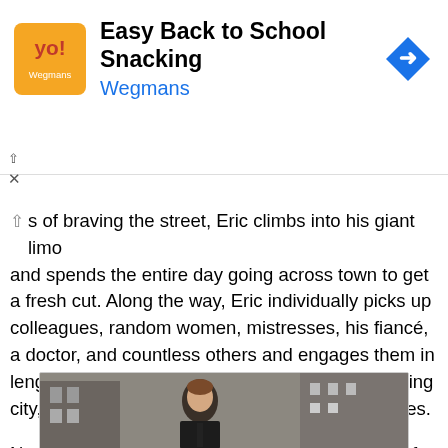[Figure (screenshot): Advertisement banner for Wegmans Easy Back to School Snacking with logo, title, brand name, and navigation arrow icon]
s of braving the street, Eric climbs into his giant limo and spends the entire day going across town to get a fresh cut. Along the way, Eric individually picks up colleagues, random women, mistresses, his fiancé, a doctor, and countless others and engages them in lengthy discussions about uh, money, the crumbling city, revolutions, rats, waffles, rectums – who cares.
Nothing that is said makes sense in the context of anything. The conversations have nothing to do with one another, nor do they hold significance for any character involved. So, essentially, Cosmopolis is a movie in which volumes are spoken but nothing is actually said.
[Figure (photo): Photo of a young man in a dark suit and tie standing on a street with buildings in the background]